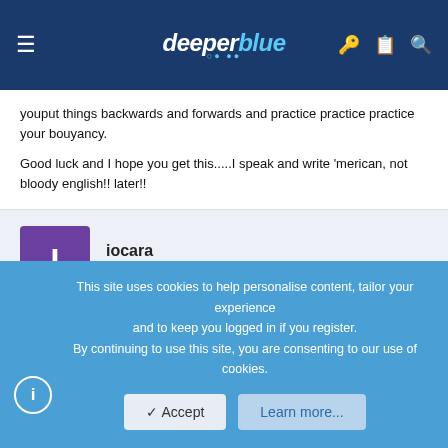[Figure (screenshot): DeeperBlue website navigation header with hamburger menu, logo, and icons for key, clipboard, and search]
youput things backwards and forwards and practice practice practice your bouyancy.
Good luck and I hope you get this.....I speak and write 'merican, not bloody english!! later!!
iocara
New Member
May 20, 2003  #3
This site uses cookies to help personalise content, tailor your experience and to keep you logged in if you register.
By continuing to use this site, you are consenting to our use of cookies.